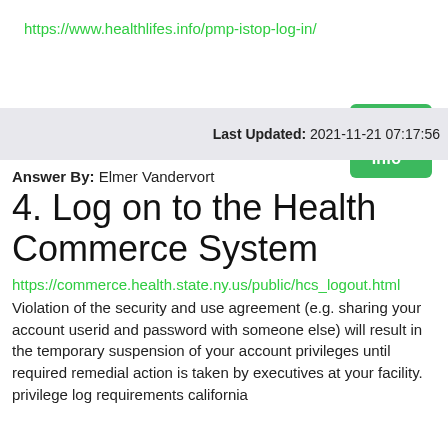https://www.healthlifes.info/pmp-istop-log-in/
> More Info
Last Updated: 2021-11-21 07:17:56
Answer By: Elmer Vandervort
4. Log on to the Health Commerce System
https://commerce.health.state.ny.us/public/hcs_logout.html
Violation of the security and use agreement (e.g. sharing your account userid and password with someone else) will result in the temporary suspension of your account privileges until required remedial action is taken by executives at your facility. privilege log requirements california